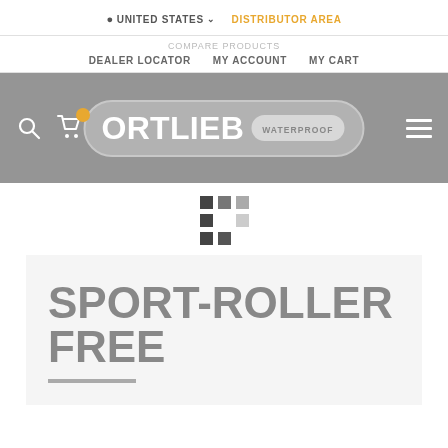UNITED STATES  DISTRIBUTOR AREA
COMPARE PRODUCTS  DEALER LOCATOR  MY ACCOUNT  MY CART
[Figure (logo): Ortlieb Waterproof logo in gray pill/capsule shape on gray navigation bar, with search icon, cart icon with orange badge, and hamburger menu icon]
[Figure (infographic): 3x2 grid of small colored squares (dark, medium, light gray) suggesting product color swatches or view options]
SPORT-ROLLER FREE